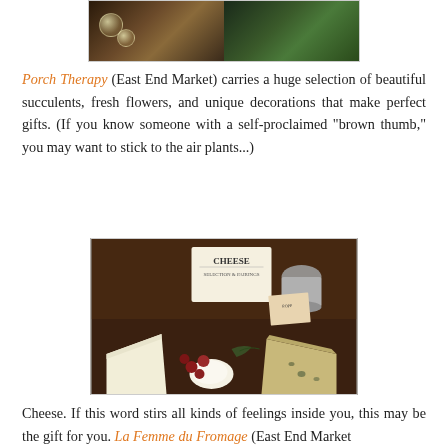[Figure (photo): Two photos side by side: left shows glass orb terrariums with air plants in warm/dark lighting; right shows green succulent or herb plants from above]
Porch Therapy (East End Market) carries a huge selection of beautiful succulents, fresh flowers, and unique decorations that make perfect gifts. (If you know someone with a self-proclaimed "brown thumb," you may want to stick to the air plants...)
[Figure (photo): A cheese display with various cheese varieties, jars, and accompaniments including berries, on a wooden surface]
Cheese. If this word stirs all kinds of feelings inside you, this may be the gift for you. La Femme du Fromage (East End Market) has great selections and will walk you through...